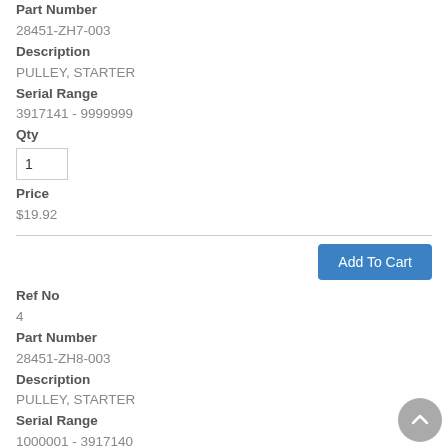Part Number
28451-ZH7-003
Description
PULLEY, STARTER
Serial Range
3917141 - 9999999
Qty
1
Price
$19.92
Add To Cart
Ref No
4
Part Number
28451-ZH8-003
Description
PULLEY, STARTER
Serial Range
1000001 - 3917140